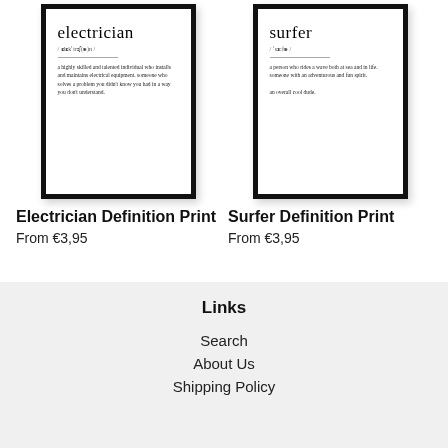[Figure (illustration): Framed print poster showing 'electrician' definition text with large serif title, phonetic spelling, divider line, and definition body text]
Electrician Definition Print
From €3,95
[Figure (illustration): Framed print poster showing 'surfer' definition text with large serif title, phonetic spelling, divider line, and definition body text]
Surfer Definition Print
From €3,95
Links
Search
About Us
Shipping Policy